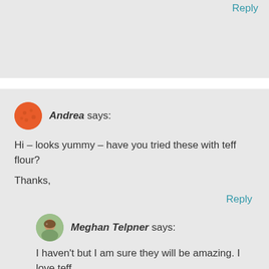Reply
Andrea says:
Hi – looks yummy – have you tried these with teff flour?

Thanks,
Reply
Meghan Telpner says:
I haven't but I am sure they will be amazing. I love teff.